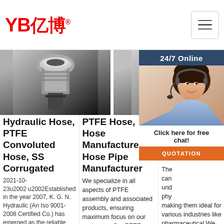[Figure (logo): YB亿博 logo in red with registered trademark symbol]
[Figure (photo): Three product images: two metal hydraulic/PTFE hose fittings, and a customer service representative photo with 24/7 Online chat overlay]
Hydraulic Hose, PTFE Convoluted Hose, SS Corrugated
2021-10-23u2002·u2002Established in the year 2007, K. G. N. Hydraulic (An Iso 9001-2008 Certified Co.) has emerged as the reliable and trusted manufacturers of an exclusive range of
PTFE Hose, Hose Manufacturer, Hose Pipe Manufacturer
We specialize in all aspects of PTFE assembly and associated products, ensuring maximum focus on our customers Our PTFE hoses and assemblies offer unique properties
Ph Fo Ho Ma
The can und phy making them ideal for various industries like pharmaceutical We are a leading Pharmaceutical & food grade hose
24/7 Online
Click here for free chat!
QUOTATION